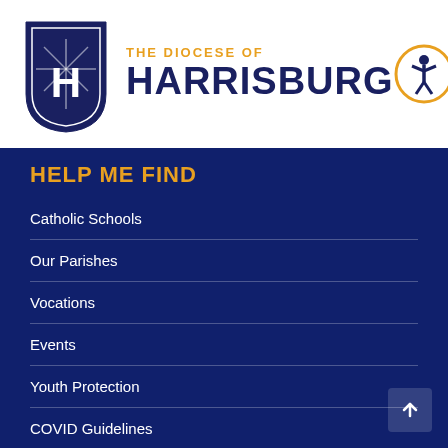[Figure (logo): The Diocese of Harrisburg logo with shield emblem on the left and text on the right, plus accessibility icon on far right]
HELP ME FIND
Catholic Schools
Our Parishes
Vocations
Events
Youth Protection
COVID Guidelines
EMPLOYEE LINKS
Careers